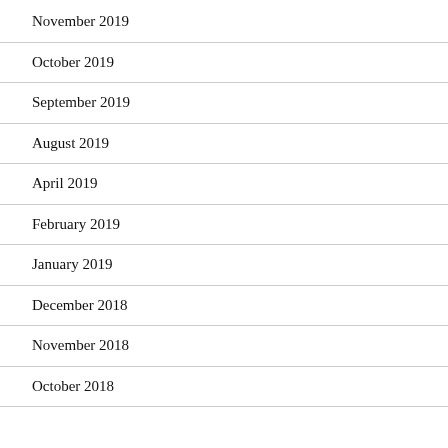November 2019
October 2019
September 2019
August 2019
April 2019
February 2019
January 2019
December 2018
November 2018
October 2018